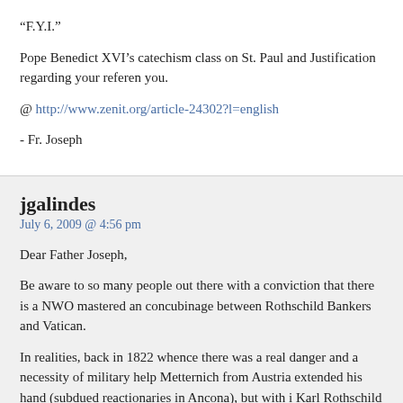“F.Y.I.”
Pope Benedict XVI’s catechism class on St. Paul and Justification regarding your reference you.
@ http://www.zenit.org/article-24302?l=english
- Fr. Joseph
jgalindes
July 6, 2009 @ 4:56 pm
Dear Father Joseph,
Be aware to so many people out there with a conviction that there is a NWO mastered and concubinage between Rothschild Bankers and Vatican.
In realities, back in 1822 whence there was a real danger and a necessity of military help Metternich from Austria extended his hand (subdued reactionaries in Ancona), but with Karl Rothschild offering the needed monetary resources to pay the expedition.
Prince Metternich was a close friend of Salomon Mayer Rothschild from the Vienna branch.
Even a man named Marino Torlonia, belonging to an old patristic family of Vatican servants partnership with the nefarious House of Rothschild, and represented Rothschild financial.